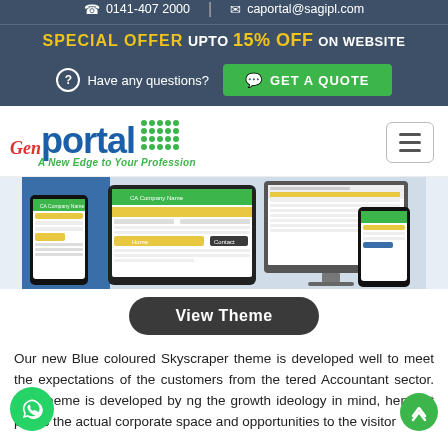0141-407 2000 | caportal@sagipl.com
SPECIAL OFFER UPTO 15% OFF ON WEBSITE
Have any questions? GET A QUOTE
[Figure (logo): Gen Portal logo with tagline 'A New Edge to Your Profession']
[Figure (screenshot): Screenshot of CA Portal website shown on phone, tablet, and monitor devices]
View Theme
Our new Blue coloured Skyscraper theme is developed well to meet the expectations of the customers from the tered Accountant sector. The theme is developed by ng the growth ideology in mind, hence it packs the actual corporate space and opportunities to the visitor